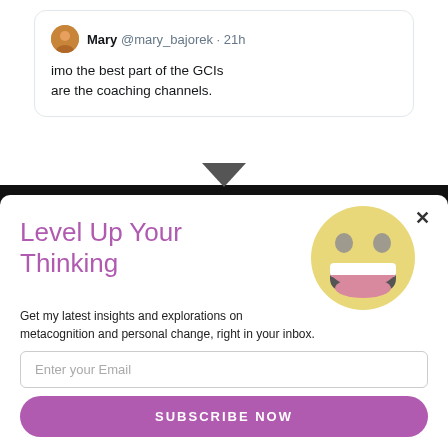[Figure (screenshot): Tweet card from Mary @mary_bajorek posted 21h ago reading: imo the best part of the GCIs are the coaching channels.]
[Figure (screenshot): Newsletter subscription modal overlay with title 'Level Up Your Thinking', a smiling emoji, description text about metacognition and personal change, an email input field, and a purple SUBSCRIBE NOW button.]
Level Up Your Thinking
Get my latest insights and explorations on metacognition and personal change, right in your inbox.
Enter your Email
SUBSCRIBE NOW